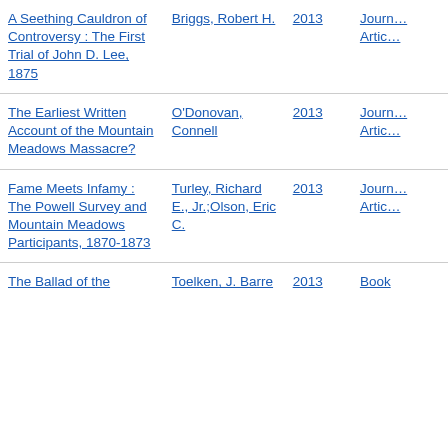| Title | Author | Year | Type |
| --- | --- | --- | --- |
| A Seething Cauldron of Controversy : The First Trial of John D. Lee, 1875 | Briggs, Robert H. | 2013 | Journal Article |
| The Earliest Written Account of the Mountain Meadows Massacre? | O'Donovan, Connell | 2013 | Journal Article |
| Fame Meets Infamy : The Powell Survey and Mountain Meadows Participants, 1870-1873 | Turley, Richard E., Jr.;Olson, Eric C. | 2013 | Journal Article |
| The Ballad of the | Toelken, J. Barre | 2013 | Book |